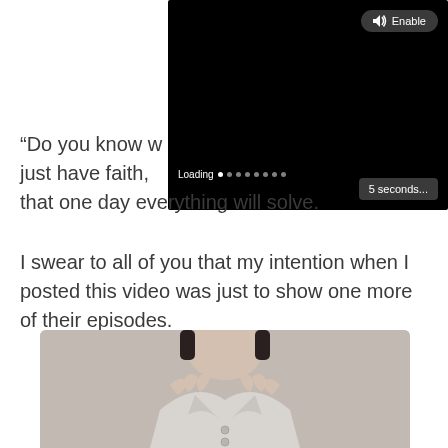[Figure (screenshot): Video player with black background, 'Enable' button with speaker icon in top right, loading indicator at bottom left showing 'Loading' with dots, and '5 seconds...' button at bottom right]
“Do you know w[hat] just have faith, [and believe] that one day everything will solve.
I swear to all of you that my intention when I posted this video was just to show one more of their episodes.
[Figure (photo): Photo of a woman with dark hair, wearing a white collared shirt, hands near her collar/chest area, neutral/beige background]